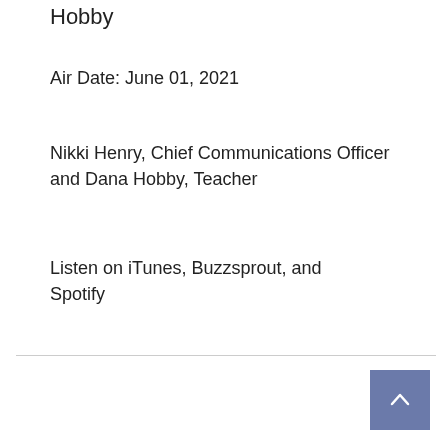Hobby
Air Date: June 01, 2021
Nikki Henry, Chief Communications Officer and Dana Hobby, Teacher
Listen on iTunes, Buzzsprout, and Spotify